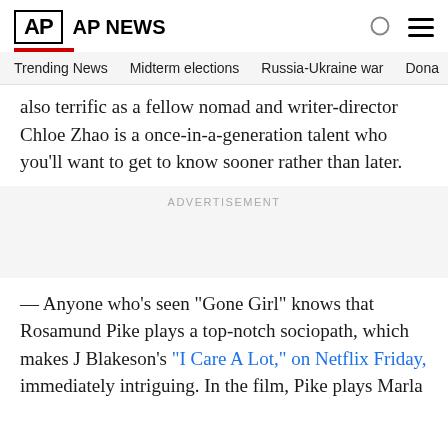AP  AP NEWS
Trending News    Midterm elections    Russia-Ukraine war    Dona
also terrific as a fellow nomad and writer-director Chloe Zhao is a once-in-a-generation talent who you'll want to get to know sooner rather than later.
ADVERTISEMENT
— Anyone who's seen “Gone Girl” knows that Rosamund Pike plays a top‑notch sociopath, which makes J Blakeson’s “I Care A Lot,” on Netflix Friday, immediately intriguing. In the film, Pike plays Marla